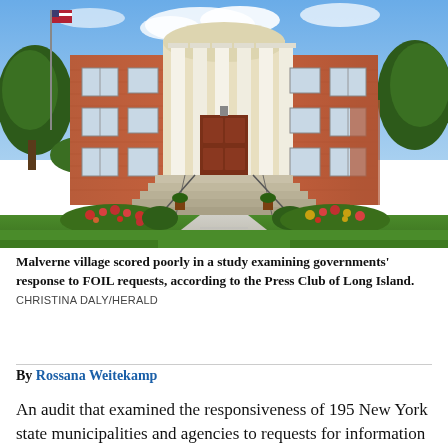[Figure (photo): Exterior photo of Malverne village hall, a red brick building with white columns and a curved portico entrance, American flag on a pole to the left, landscaped gardens with colorful flowers in front, sunny day with blue sky.]
Malverne village scored poorly in a study examining governments' response to FOIL requests, according to the Press Club of Long Island.
CHRISTINA DALY/HERALD
By Rossana Weitekamp
An audit that examined the responsiveness of 195 New York state municipalities and agencies to requests for information under the Freedom of